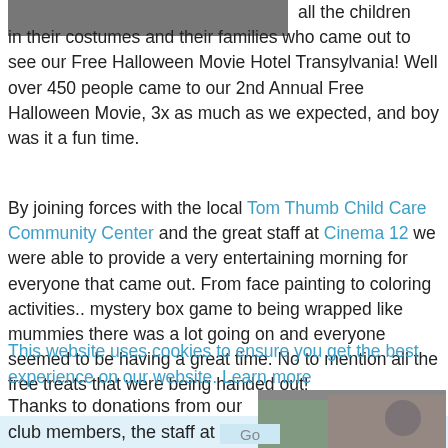[Figure (photo): Partial photo of children in costumes at top of page]
all the children in their costumes and their families who came out to see our Free Halloween Movie Hotel Transylvania! Well over 450 people came to our 2nd Annual Free Halloween Movie, 3x as much as we expected, and boy was it a fun time.
By joining forces with the local Tom Thumb Child Care Community Center and the great staff at Cinema 12 we were able to provide a very entertaining morning for everyone that came out. From face painting to coloring activities.. mystery box game to being wrapped like mummies there was a lot going on and everyone seemed to be having a great time. No to mention all the free treats that were being handed out!
This website uses cookies to ensure you get the best experience on our website. Learn more
Thanks to donations from our club members, the staff at the Tom Thumb Community Center and the local Fire
[Figure (photo): Photo of people at an indoor event, man in blue/yellow shirt in foreground]